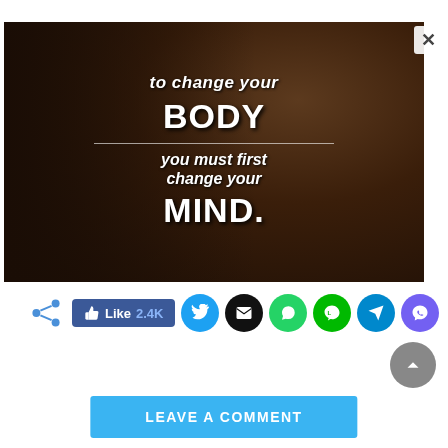[Figure (photo): Dark motivational fitness photo with woman's body in background. White text overlay reads: 'to change your BODY you must first change your MIND.' with a horizontal divider line between BODY and 'you must first'.]
[Figure (infographic): Social sharing bar with share icon, Facebook Like button showing 2.4K likes, Twitter, Email, WhatsApp, Line, Telegram, and Viber circular icon buttons.]
LEAVE A COMMENT